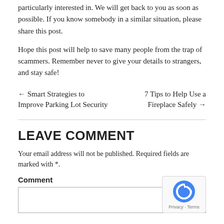particularly interested in. We will get back to you as soon as possible. If you know somebody in a similar situation, please share this post.
Hope this post will help to save many people from the trap of scammers. Remember never to give your details to strangers, and stay safe!
← Smart Strategies to Improve Parking Lot Security
7 Tips to Help Use a Fireplace Safely →
LEAVE COMMENT
Your email address will not be published. Required fields are marked with *.
Comment